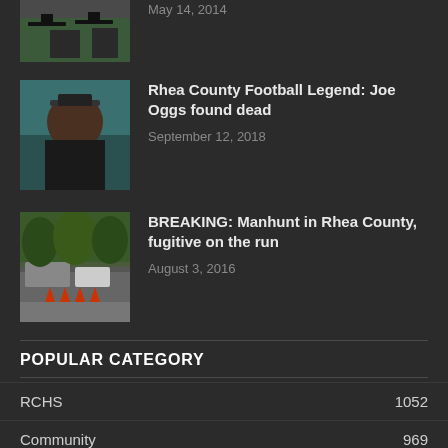[Figure (photo): Partial view of graduates in caps at top of page, cropped]
May 14, 2014
[Figure (photo): Man in dark shirt and cap taking a selfie]
Rhea County Football Legend: Joe Oggs found dead
September 12, 2018
[Figure (photo): Road with traffic cones and police vehicles, trees in background]
BREAKING: Manhunt in Rhea County, fugitive on the run
August 3, 2016
POPULAR CATEGORY
RCHS  1052
Community  969
Rhea County Outdoors  721
Obituaries  531